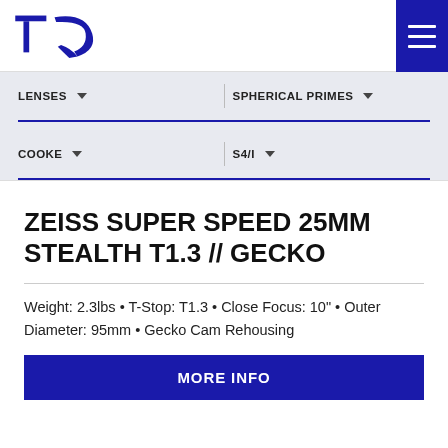TCS logo and navigation hamburger menu
LENSES   SPHERICAL PRIMES
COOKE   S4/I
ZEISS SUPER SPEED 25MM STEALTH T1.3 // GECKO
Weight: 2.3lbs • T-Stop: T1.3 • Close Focus: 10" • Outer Diameter: 95mm • Gecko Cam Rehousing
MORE INFO